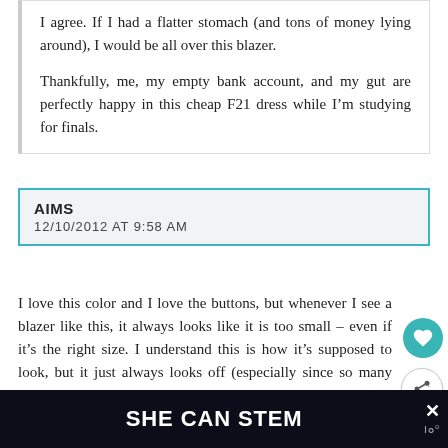I agree. If I had a flatter stomach (and tons of money lying around), I would be all over this blazer.

Thankfully, me, my empty bank account, and my gut are perfectly happy in this cheap F21 dress while I’m studying for finals.
AIMS
12/10/2012 AT 9:58 AM
I love this color and I love the buttons, but whenever I see a blazer like this, it always looks like it is too small – even if it’s the right size. I understand this is how it’s supposed to look, but it just always looks off (especially since so many people do just wear blazers that are way too small on them).
▼ Collapse 17  replies
SHE CAN STEM